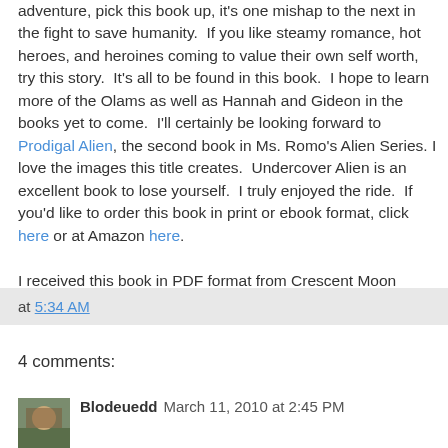adventure, pick this book up, it's one mishap to the next in the fight to save humanity.  If you like steamy romance, hot heroes, and heroines coming to value their own self worth, try this story.  It's all to be found in this book.  I hope to learn more of the Olams as well as Hannah and Gideon in the books yet to come.  I'll certainly be looking forward to Prodigal Alien, the second book in Ms. Romo's Alien Series.  I love the images this title creates.  Undercover Alien is an excellent book to lose yourself.  I truly enjoyed the ride.  If you'd like to order this book in print or ebook format, click here or at Amazon here.
I received this book in PDF format from Crescent Moon Press. All opinions expressed are my own.
at 5:34 AM
4 comments:
Blodeuedd  March 11, 2010 at 2:45 PM